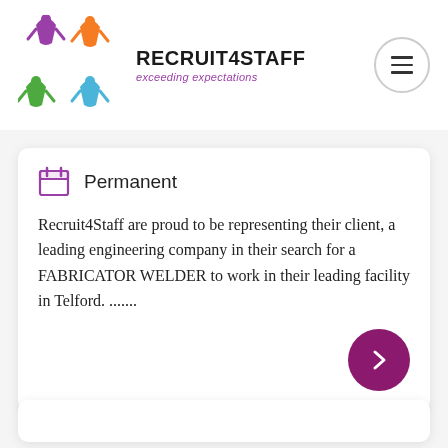[Figure (logo): Recruit4Staff logo: colorful star/person shapes in purple, orange, green, blue, with text RECRUIT4STAFF exceeding expectations]
Permanent
Recruit4Staff are proud to be representing their client, a leading engineering company in their search for a FABRICATOR WELDER to work in their leading facility in Telford. .......